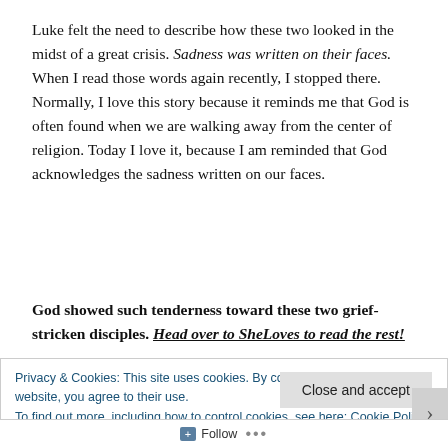Luke felt the need to describe how these two looked in the midst of a great crisis. Sadness was written on their faces. When I read those words again recently, I stopped there. Normally, I love this story because it reminds me that God is often found when we are walking away from the center of religion. Today I love it, because I am reminded that God acknowledges the sadness written on our faces.
God showed such tenderness toward these two grief-stricken disciples. Head over to SheLoves to read the rest!
Privacy & Cookies: This site uses cookies. By continuing to use this website, you agree to their use.
To find out more, including how to control cookies, see here: Cookie Policy
Close and accept
Follow